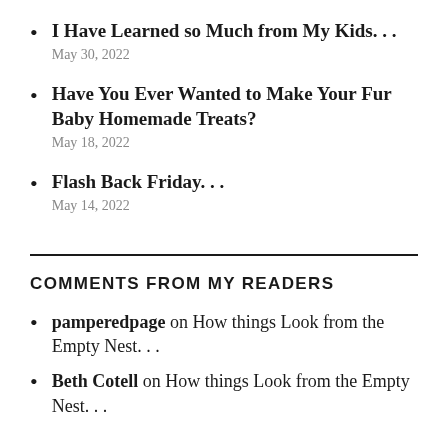I Have Learned so Much from My Kids. . .
May 30, 2022
Have You Ever Wanted to Make Your Fur Baby Homemade Treats?
May 18, 2022
Flash Back Friday. . .
May 14, 2022
COMMENTS FROM MY READERS
pamperedpage on How things Look from the Empty Nest. . .
Beth Cotell on How things Look from the Empty Nest. . .